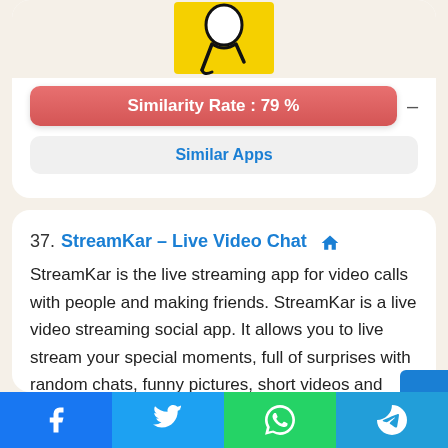[Figure (illustration): App icon with yellow background and cartoon character in black and white]
Similarity Rate : 79 %
Similar Apps
37. StreamKar – Live Video Chat
StreamKar is the live streaming app for video calls with people and making friends. StreamKar is a live video streaming social app. It allows you to live stream your special moments, full of surprises with random chats, funny pictures, short videos and group live chat. Latest